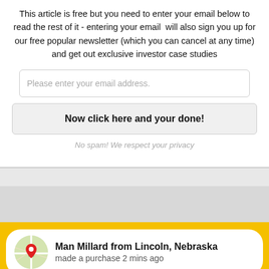This article is free but you need to enter your email below to read the rest of it - entering your email  will also sign you up for our free popular newsletter (which you can cancel at any time) and get out exclusive investor case studies
Please enter your email address.
Now click here and your done!
No spam! We respect your privacy
Man Millard from Lincoln, Nebraska
made a purchase 2 mins ago